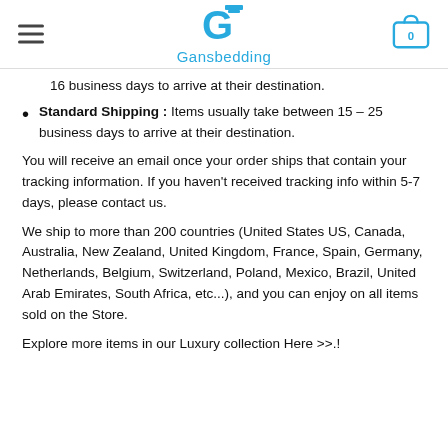Gansbedding
16 business days to arrive at their destination.
Standard Shipping : Items usually take between 15 – 25 business days to arrive at their destination.
You will receive an email once your order ships that contain your tracking information. If you haven't received tracking info within 5-7 days, please contact us.
We ship to more than 200 countries (United States US, Canada, Australia, New Zealand, United Kingdom, France, Spain, Germany, Netherlands, Belgium, Switzerland, Poland, Mexico, Brazil, United Arab Emirates, South Africa, etc...), and you can enjoy on all items sold on the Store.
Explore more items in our Luxury collection Here >>.!